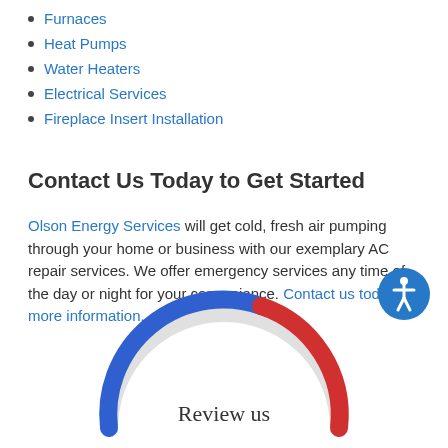Furnaces
Heat Pumps
Water Heaters
Electrical Services
Fireplace Insert Installation
Contact Us Today to Get Started
Olson Energy Services will get cold, fresh air pumping through your home or business with our exemplary AC repair services. We offer emergency services any time of the day or night for your convenience. Contact us today for more information.
[Figure (donut-chart): Partial donut chart in blue and red with 'Review us' text in the center bottom]